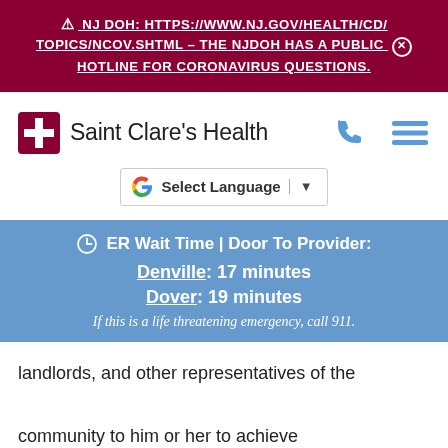⚠ NJ DOH: HTTPS://WWW.NJ.GOV/HEALTH/CD/TOPICS/NCOV.SHTML – THE NJDOH HAS A PUBLIC HOTLINE FOR CORONAVIRUS QUESTIONS.
[Figure (logo): Saint Clare's Health logo with red cross icon and hospital name text, phone icon, and hamburger menu icon]
[Figure (screenshot): Google Translate 'Select Language' dropdown widget]
ER Wait Time | Door To Provider: Denville: 17 minutes Dover: 19 minutes If this is a life threatening emergency, call 911.
landlords, and other representatives of the community to him or her to achieve